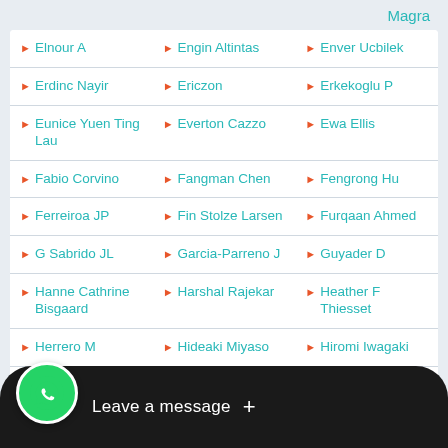Magra
Elnour A
Engin Altintas
Enver Ucbilek
Erdinc Nayir
Ericzon
Erkekoglu P
Eunice Yuen Ting Lau
Everton Cazzo
Ewa Ellis
Fabio Corvino
Fangman Chen
Fengrong Hu
Ferreiroa JP
Fin Stolze Larsen
Furqaan Ahmed
G Sabrido JL
Garcia-Parreno J
Guyader D
Hanne Cathrine Bisgaard
Harshal Rajekar
Heather F Thiesset
Herrero M
Hideaki Miyaso
Hiromi Iwagaki
Irene Oi-Lin NG
James D